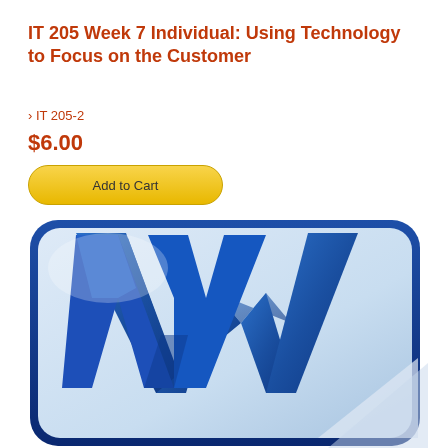IT 205 Week 7 Individual: Using Technology to Focus on the Customer
› IT 205-2
$6.00
Add to Cart
[Figure (logo): Microsoft Word application icon — large blue 'W' logo on a light blue rounded-rectangle background with dark blue border]